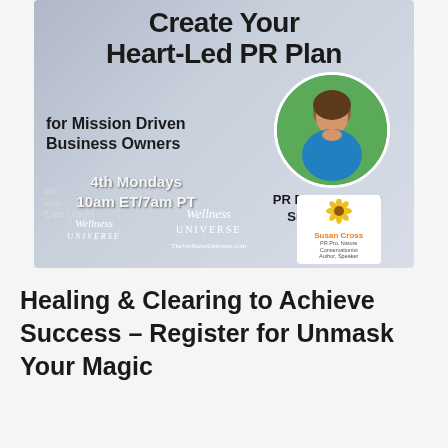[Figure (infographic): Promotional banner for 'Create Your Heart-Led PR Plan for Mission Driven Business Owners' event. Features bold title text, circular photo of Susan Cross in blue jacket, schedule info '4th Mondays 10am ET/7am PT', Wellness Universe branding, and Susan Cross PR Expert Leader credit.]
Healing & Clearing to Achieve Success – Register for Unmask Your Magic
[Figure (photo): Bottom portion of a colorful banner with URL https://bit.ly/UnmaskYourMagic and partial text 'Unmask' in gold letters on a dark purple/pink gradient background.]